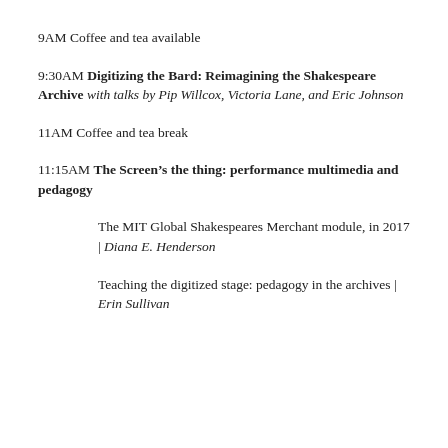9AM Coffee and tea available
9:30AM Digitizing the Bard: Reimagining the Shakespeare Archive with talks by Pip Willcox, Victoria Lane, and Eric Johnson
11AM Coffee and tea break
11:15AM The Screen’s the thing: performance multimedia and pedagogy
The MIT Global Shakespeares Merchant module, in 2017 | Diana E. Henderson
Teaching the digitized stage: pedagogy in the archives | Erin Sullivan